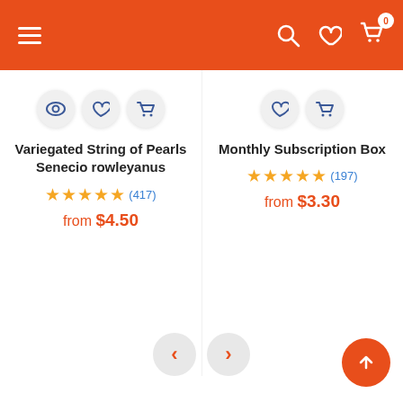Navigation bar with menu, search, wishlist, and cart (0 items)
Variegated String of Pearls Senecio rowleyanus ★★★★★ (417) from $4.50
Monthly Subscription Box ★★★★★ (197) from $3.30